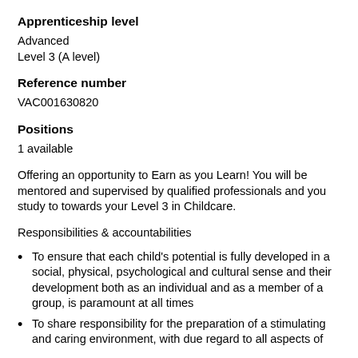Apprenticeship level
Advanced
Level 3 (A level)
Reference number
VAC001630820
Positions
1 available
Offering an opportunity to Earn as you Learn! You will be mentored and supervised by qualified professionals and you study to towards your Level 3 in Childcare.
Responsibilities & accountabilities
To ensure that each child's potential is fully developed in a social, physical, psychological and cultural sense and their development both as an individual and as a member of a group, is paramount at all times
To share responsibility for the preparation of a stimulating and caring environment, with due regard to all aspects of